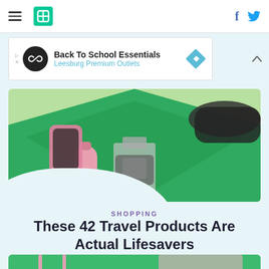HuffPost navigation header with hamburger menu, logo, Facebook and Twitter icons
[Figure (infographic): Advertisement banner: Back To School Essentials, Leesburg Premium Outlets]
[Figure (photo): Travel products hero image on green background showing luggage, pink water bottle, phone case, and travel accessories]
SHOPPING
These 42 Travel Products Are Actual Lifesavers
[Figure (photo): Pink shower stool and pink mesh caddy basket with toiletries on green background]